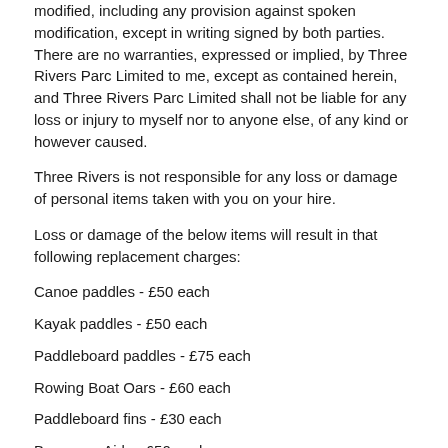modified, including any provision against spoken modification, except in writing signed by both parties. There are no warranties, expressed or implied, by Three Rivers Parc Limited to me, except as contained herein, and Three Rivers Parc Limited shall not be liable for any loss or injury to myself nor to anyone else, of any kind or however caused.
Three Rivers is not responsible for any loss or damage of personal items taken with you on your hire.
Loss or damage of the below items will result in that following replacement charges:
Canoe paddles - £50 each
Kayak paddles - £50 each
Paddleboard paddles - £75 each
Rowing Boat Oars - £60 each
Paddleboard fins - £30 each
Buoyancy Aids - £50 each
Canoes - up to £1500 each (depending on severity of damage)
Kayaks - up to £600 each (depending on severity of damage)